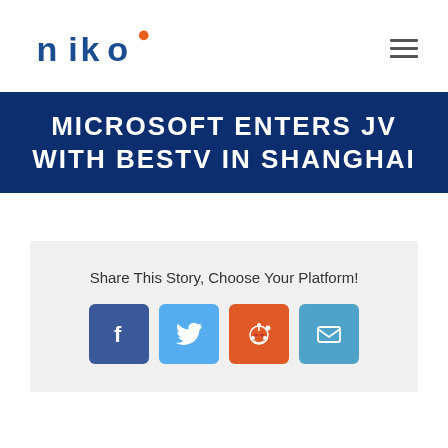[Figure (logo): Niko logo: lowercase 'niko' in teal/dark blue with an orange dot above the 'o']
MICROSOFT ENTERS JV WITH BESTV IN SHANGHAI
Share This Story, Choose Your Platform!
[Figure (infographic): Four social sharing buttons: Facebook (dark blue), Twitter (light blue with bird icon), Reddit (orange with alien icon), LinkedIn (medium blue)]